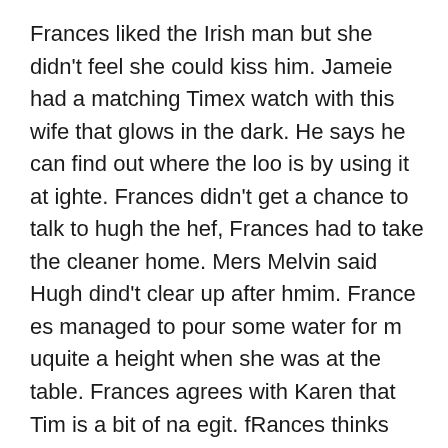Frances liked the Irish man but she didn't feel she could kiss him. Jameie had a matching Timex watch with this wife that glows in the dark. He says he can find out where the loo is by using it at ighte. Frances didn't get a chance to talk to hugh the hef, Frances had to take the cleaner home. Mers Melvin said Hugh dind't clear up after hmim. France es managed to pour some water for m uquite a height when she was at the table. Frances agrees with Karen that Tim is a bit of na egit. fRances thinks Time is friendly but only to girls whose hair he strokses. Frances keeps looking at the manager of House Moves. He was wearing a pink shirt today and frances saw him when he cme out of the loo. Frances didn't tneed the loo but she wanted to go and look at her self and papply some olipstic.k. frances stood in a puddle when she came home though the garden. Frances wonders if anyone has